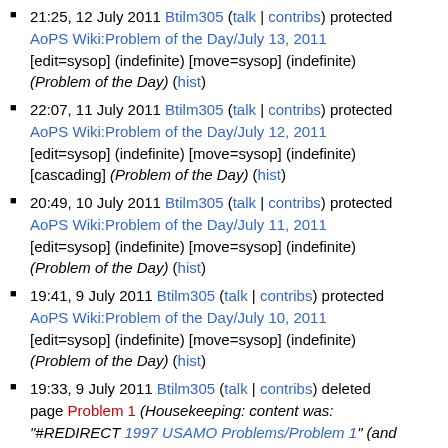21:25, 12 July 2011 Btilm305 (talk | contribs) protected AoPS Wiki:Problem of the Day/July 13, 2011 [edit=sysop] (indefinite) [move=sysop] (indefinite) (Problem of the Day) (hist)
22:07, 11 July 2011 Btilm305 (talk | contribs) protected AoPS Wiki:Problem of the Day/July 12, 2011 [edit=sysop] (indefinite) [move=sysop] (indefinite) [cascading] (Problem of the Day) (hist)
20:49, 10 July 2011 Btilm305 (talk | contribs) protected AoPS Wiki:Problem of the Day/July 11, 2011 [edit=sysop] (indefinite) [move=sysop] (indefinite) (Problem of the Day) (hist)
19:41, 9 July 2011 Btilm305 (talk | contribs) protected AoPS Wiki:Problem of the Day/July 10, 2011 [edit=sysop] (indefinite) [move=sysop] (indefinite) (Problem of the Day) (hist)
19:33, 9 July 2011 Btilm305 (talk | contribs) deleted page Problem 1 (Housekeeping: content was: "#REDIRECT 1997 USAMO Problems/Problem 1" (and the only contributor was "Azjps"))
20:17, 8 July 2011 Btilm305 (talk | contribs) protected